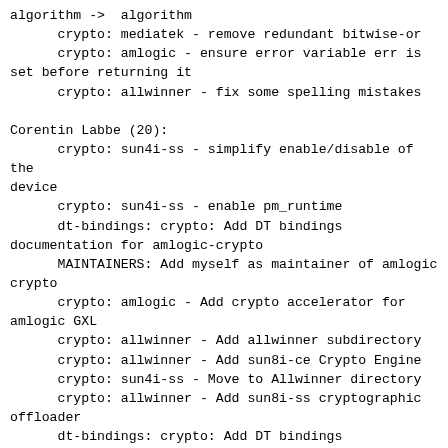algorithm -> algorithm
      crypto: mediatek - remove redundant bitwise-or
      crypto: amlogic - ensure error variable err is set before returning it
      crypto: allwinner - fix some spelling mistakes

Corentin Labbe (20):
      crypto: sun4i-ss - simplify enable/disable of the device
      crypto: sun4i-ss - enable pm_runtime
      dt-bindings: crypto: Add DT bindings documentation for amlogic-crypto
      MAINTAINERS: Add myself as maintainer of amlogic crypto
      crypto: amlogic - Add crypto accelerator for amlogic GXL
      crypto: allwinner - Add allwinner subdirectory
      crypto: allwinner - Add sun8i-ce Crypto Engine
      crypto: sun4i-ss - Move to Allwinner directory
      crypto: allwinner - Add sun8i-ss cryptographic offloader
      dt-bindings: crypto: Add DT bindings documentation for sun8i-ss Security System
      crypto: amlogic - fix two resources leak
      MAINTAINERS: add linux-amlogic list for amlogic crypto
      crypto: tcrypt - constify check alg list
      crypto: sun4i-ss - Fix 64-bit size_t warnings on sun4i-ss-hash.c
      crypto: sun4i-ss - remove dependency on not 64BIT
      crypto: sun4i-ss - use crypto_shash digestsize